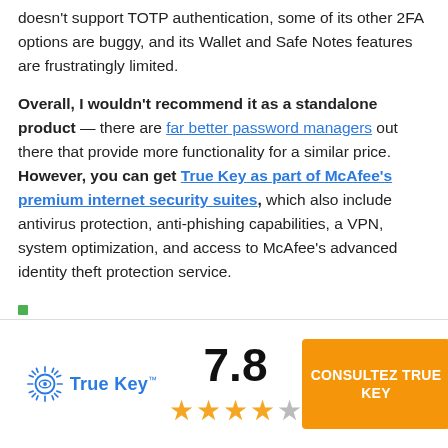doesn't support TOTP authentication, some of its other 2FA options are buggy, and its Wallet and Safe Notes features are frustratingly limited.
Overall, I wouldn't recommend it as a standalone product — there are far better password managers out there that provide more functionality for a similar price. However, you can get True Key as part of McAfee's premium internet security suites, which also include antivirus protection, anti-phishing capabilities, a VPN, system optimization, and access to McAfee's advanced identity theft protection service.
[Figure (logo): True Key logo with score 7.8 and 3.5 stars rating, plus orange CONSULTEZ TRUE KEY button]